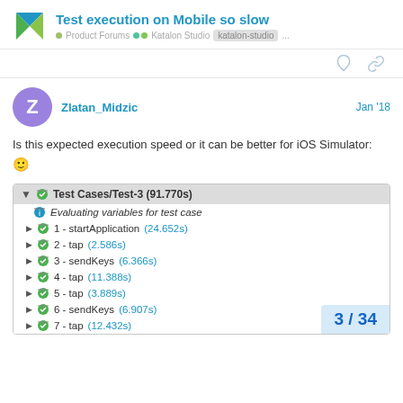Test execution on Mobile so slow — Product Forums • Katalon Studio • katalon-studio ...
Is this expected execution speed or it can be better for iOS Simulator: 🙂
[Figure (screenshot): Katalon Studio test execution log showing Test Cases/Test-3 (91.770s) with steps: Evaluating variables for test case, 1 - startApplication (24.652s), 2 - tap (2.586s), 3 - sendKeys (6.366s), 4 - tap (11.388s), 5 - tap (3.889s), 6 - sendKeys (6.907s), 7 - tap (12.432s)]
3 / 34